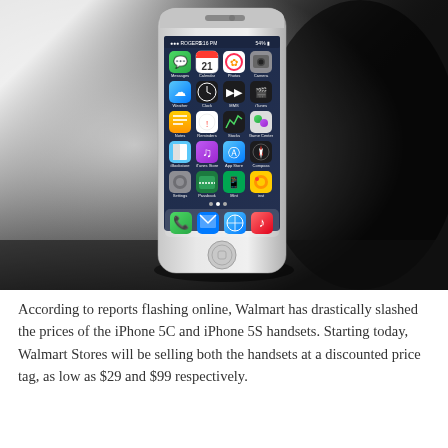[Figure (photo): Silver iPhone 5S standing upright on a dark surface with dramatic lighting. The phone's screen displays the iOS 7 home screen with app icons including Messages, Calendar, Photos, Camera, Weather, Clock, Videos, iTunes, Notes, Reminders, Stocks, Game Center, iBooks, iTunes Store, App Store, Compass, Settings, Passbook, Mint, and music apps. The background transitions from bright white on the left to dark shadow on the right.]
According to reports flashing online, Walmart has drastically slashed the prices of the iPhone 5C and iPhone 5S handsets. Starting today, Walmart Stores will be selling both the handsets at a discounted price tag, as low as $29 and $99 respectively.